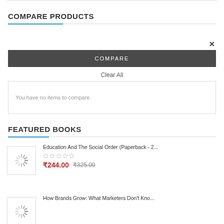COMPARE PRODUCTS
×
COMPARE
Clear All
You have no items to compare.
FEATURED BOOKS
Education And The Social Order (Paperback - 2...
₹244.00   ₹325.00
How Brands Grow: What Marketers Don't Kno...